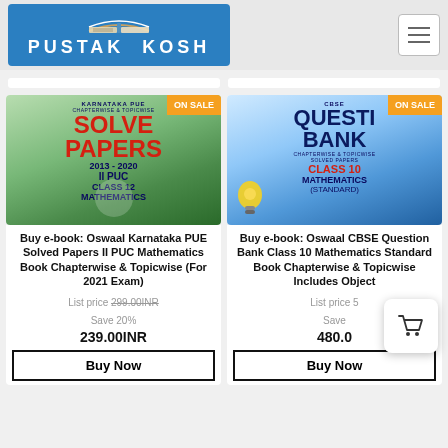[Figure (logo): Pustak Kosh logo with open book icon on blue background]
[Figure (photo): Karnataka PUE Solved Papers II PUC Mathematics book cover with ON SALE badge]
[Figure (photo): CBSE Question Bank Class 10 Mathematics Standard book cover with ON SALE badge]
Buy e-book: Oswaal Karnataka PUE Solved Papers II PUC Mathematics Book Chapterwise & Topicwise (For 2021 Exam)
List price 299.00INR
Save 20%
239.00INR
Buy Now
Buy e-book: Oswaal CBSE Question Bank Class 10 Mathematics Standard Book Chapterwise & Topicwise Includes Object
List price 5...
Save...
480.0...
Buy Now